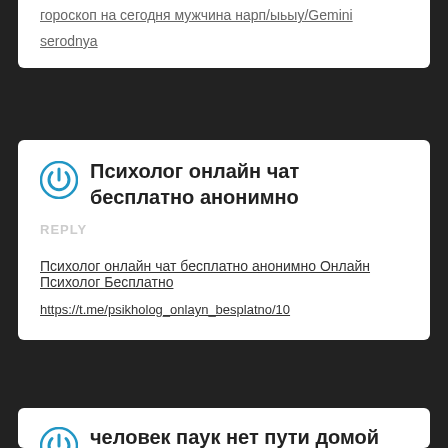гороскоп на сегодня мужчина нарп/ыьыу/Gemini serodnya
Психолог онлайн чат бесплатно анонимно
REPLY
Психолог онлайн чат бесплатно анонимно Онлайн Психолог Бесплатно
https://t.me/psikholog_onlayn_besplatno/10
человек паук нет пути домой смотреть онлайн бесплатно в хорошем